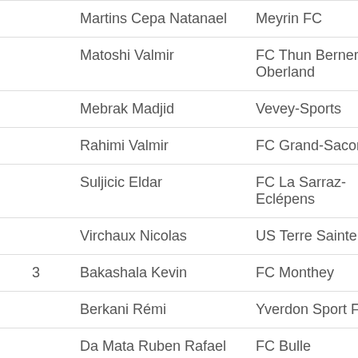| # | Name | Club |
| --- | --- | --- |
|  | Martins Cepa Natanael | Meyrin FC |
|  | Matoshi Valmir | FC Thun Berner Oberland |
|  | Mebrak Madjid | Vevey-Sports |
|  | Rahimi Valmir | FC Grand-Saconnex |
|  | Suljicic Eldar | FC La Sarraz-Eclépens |
|  | Virchaux Nicolas | US Terre Sainte |
| 3 | Bakashala Kevin | FC Monthey |
|  | Berkani Rémi | Yverdon Sport FC |
|  | Da Mata Ruben Rafael | FC Bulle |